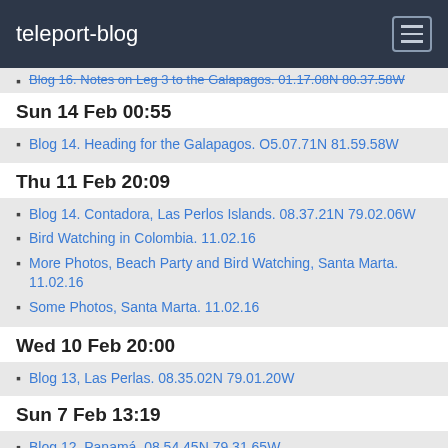teleport-blog
Blog 16. Notes on Leg 3 to the Galapagos. 01.17.08N 80.37.58W
Sun 14 Feb 00:55
Blog 14. Heading for the Galapagos. O5.07.71N 81.59.58W
Thu 11 Feb 20:09
Blog 14. Contadora, Las Perlos Islands. 08.37.21N 79.02.06W
Bird Watching in Colombia. 11.02.16
More Photos, Beach Party and Bird Watching, Santa Marta. 11.02.16
Some Photos, Santa Marta. 11.02.16
Wed 10 Feb 20:00
Blog 13, Las Perlas. 08.35.02N 79.01.20W
Sun 7 Feb 13:19
Blog 12, Panamá. 08.54.45N 79.31.65W
Thu 4 Feb 00:26
Blog 11. Panama. 08.54.40N 79.31.54W
Jan 2016